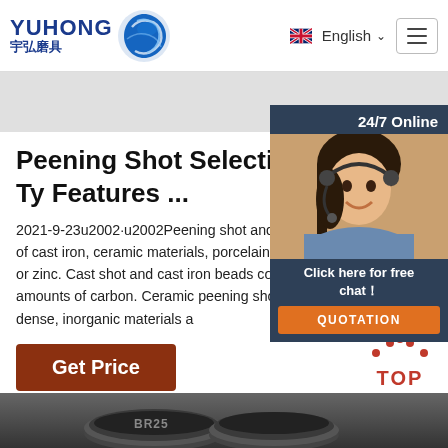[Figure (logo): YUHONG 宇弘磨具 company logo with blue wave/globe icon]
English ☰
[Figure (photo): Gray banner strip and customer service representative photo with '24/7 Online' label, 'Click here for free chat!' text, and QUOTATION orange button]
Peening Shot Selection Guide: Ty Features ...
2021-9-23u2002·u2002Peening shot and beads usually made of cast iron, ceramic materials, porcelain, steel, stainless steel, or zinc. Cast shot and cast iron beads consist ferrous alloy amounts of carbon. Ceramic peening shot and beads are hard, dense, inorganic materials a
[Figure (other): Get Price brown button]
[Figure (other): TOP navigation button with red dots arc and TOP text]
[Figure (photo): Bottom product image strip showing dark abrasive discs]